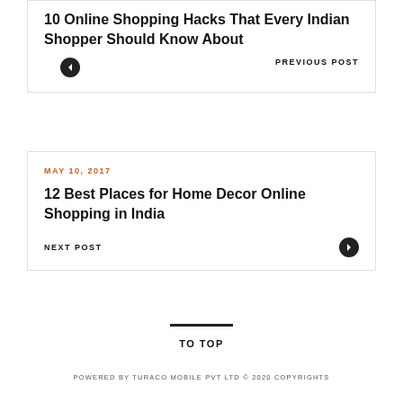10 Online Shopping Hacks That Every Indian Shopper Should Know About
PREVIOUS POST
MAY 10, 2017
12 Best Places for Home Decor Online Shopping in India
NEXT POST
TO TOP
POWERED BY TURACO MOBILE PVT LTD © 2020 COPYRIGHTS